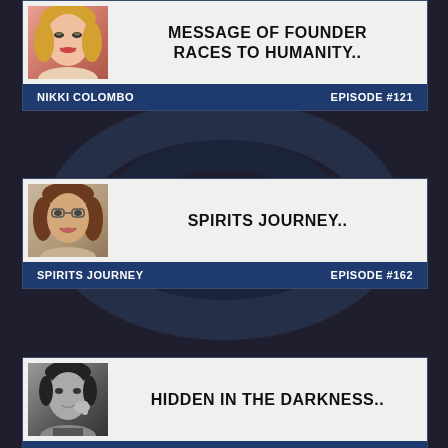[Figure (screenshot): Podcast episode listing screenshot showing three episode cards with host photos, episode titles, show names and episode numbers]
MESSAGE OF FOUNDER RACES TO HUMANITY..
NIKKI COLOMBO   EPISODE #121
SPIRITS JOURNEY..
SPIRITS JOURNEY   EPISODE #162
HIDDEN IN THE DARKNESS..
PARANORMAL PORTAL   EPISODE #585